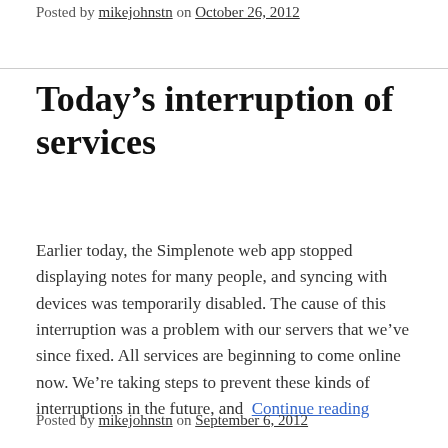Posted by mikejohnstn on October 26, 2012
Today's interruption of services
Earlier today, the Simplenote web app stopped displaying notes for many people, and syncing with devices was temporarily disabled. The cause of this interruption was a problem with our servers that we've since fixed. All services are beginning to come online now. We're taking steps to prevent these kinds of interruptions in the future, and  Continue reading
Posted by mikejohnstn on September 6, 2012